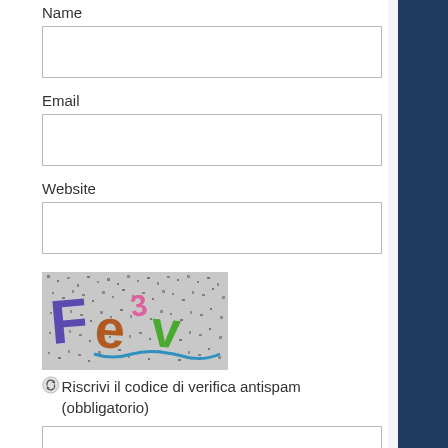Name
Email
Website
[Figure (other): CAPTCHA image showing colorful letters on a speckled background: 'Fe3v' in purple, brown, pink and green colors]
Riscrivi il codice di verifica antispam (obbligatorio)